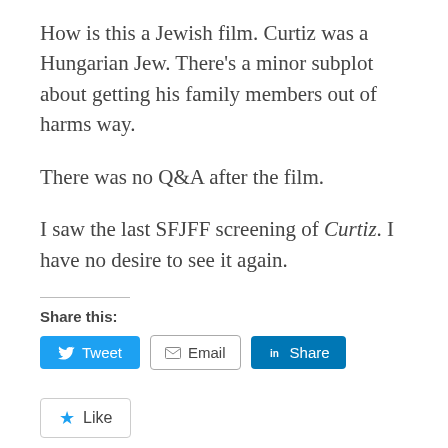How is this a Jewish film. Curtiz was a Hungarian Jew. There's a minor subplot about getting his family members out of harms way.
There was no Q&A after the film.
I saw the last SFJFF screening of Curtiz. I have no desire to see it again.
Share this:
[Figure (other): Tweet, Email, and LinkedIn Share buttons]
[Figure (other): Like button widget]
Be the first to like this.